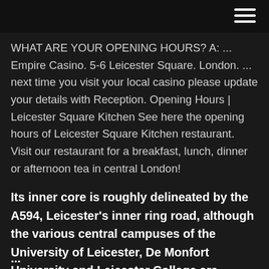≡
WHAT ARE YOUR OPENING HOURS? A: ... Empire Casino. 5-6 Leicester Square. London. ... next time you visit your local casino please update your details with Reception. Opening Hours | Leicester Square Kitchen See here the opening hours of Leicester Square Kitchen restaurant. Visit our restaurant for a breakfast, lunch, dinner or afternoon tea in central London!
Its inner core is roughly delineated by the A594, Leicester's inner ring road, although the various central campuses of the University of Leicester, De Monfort University and Leicester College are adjacent to the inner ring road and could
...